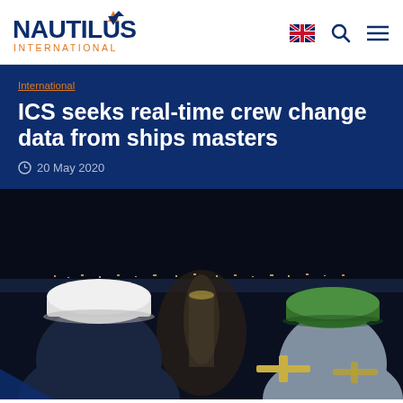Nautilus International
International
ICS seeks real-time crew change data from ships masters
20 May 2020
[Figure (photo): Two seafarers wearing hard hats (one white, one green) looking down at a ship deck at night, with city lights reflected on water in the background.]